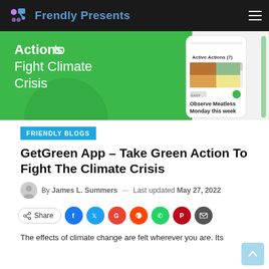Frendly Presents
[Figure (screenshot): Hero banner showing green background with text 'Actions to Fight Climate Crisis' and a smartphone screenshot showing 'Active Actions (7)' and 'Observe Meatless Monday this week' with food images]
FRIENDLY BLOGS
GetGreen App – Take Green Action To Fight The Climate Crisis
By James L. Summers — Last updated May 27, 2022
Share
The effects of climate change are felt wherever you are. Its